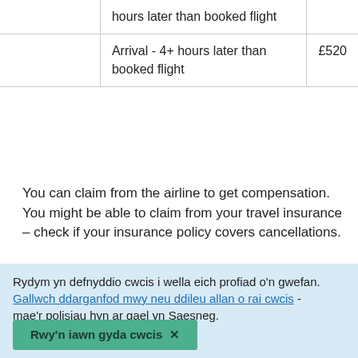|  | Delay type | Compensation |
| --- | --- | --- |
|  | hours later than booked flight |  |
|  | Arrival - 4+ hours later than booked flight | £520 |
You can claim from the airline to get compensation. You might be able to claim from your travel insurance – check if your insurance policy covers cancellations.
Claim from the airline
Rydym yn defnyddio cwcis i wella eich profiad o'n gwefan. Gallwch ddarganfod mwy neu ddileu allan o rai cwcis - mae'r polisiau hyn ar gael yn Saesneg.